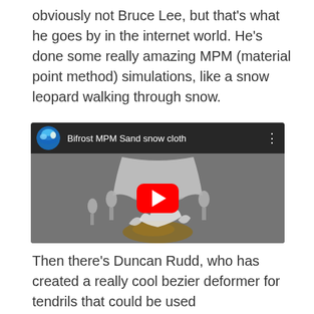obviously not Bruce Lee, but that's what he goes by in the internet world. He's done some really amazing MPM (material point method) simulations, like a snow leopard walking through snow.
[Figure (screenshot): YouTube video thumbnail for 'Bifrost MPM Sand snow cloth' showing a cloth simulation with sand/snow particles, featuring a red play button in the center.]
Then there's Duncan Rudd, who has created a really cool bezier deformer for tendrils that could be used